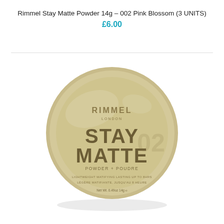Rimmel Stay Matte Powder 14g - 002 Pink Blossom (3 UNITS)
£6.00
[Figure (photo): Rimmel Stay Matte Powder compact in a round gold/beige container. The label reads RIMMEL LONDON, STAY MATTE, POWDER + POUDRE, lightweight matifying lasting up to 8hrs, legere matifiante, jusqu au heure, Net Wt. 0.49oz 14g]